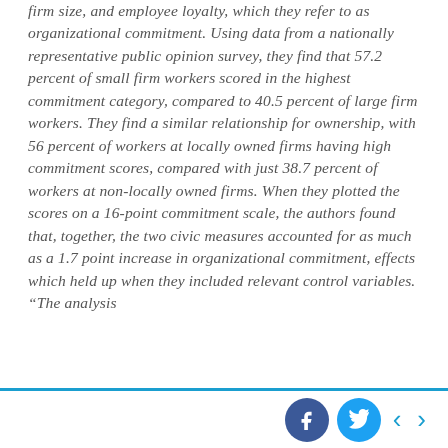firm size, and employee loyalty, which they refer to as organizational commitment. Using data from a nationally representative public opinion survey, they find that 57.2 percent of small firm workers scored in the highest commitment category, compared to 40.5 percent of large firm workers. They find a similar relationship for ownership, with 56 percent of workers at locally owned firms having high commitment scores, compared with just 38.7 percent of workers at non-locally owned firms. When they plotted the scores on a 16-point commitment scale, the authors found that, together, the two civic measures accounted for as much as a 1.7 point increase in organizational commitment, effects which held up when they included relevant control variables. “The analysis
Social media share buttons and navigation arrows